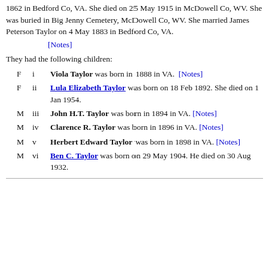1862 in Bedford Co, VA. She died on 25 May 1915 in McDowell Co, WV. She was buried in Big Jenny Cemetery, McDowell Co, WV. She married James Peterson Taylor on 4 May 1883 in Bedford Co, VA.
[Notes]
They had the following children:
F   i   Viola Taylor was born in 1888 in VA. [Notes]
F   ii  Lula Elizabeth Taylor was born on 18 Feb 1892. She died on 1 Jan 1954.
M  iii  John H.T. Taylor was born in 1894 in VA. [Notes]
M  iv   Clarence R. Taylor was born in 1896 in VA. [Notes]
M  v    Herbert Edward Taylor was born in 1898 in VA. [Notes]
M  vi   Ben C. Taylor was born on 29 May 1904. He died on 30 Aug 1932.